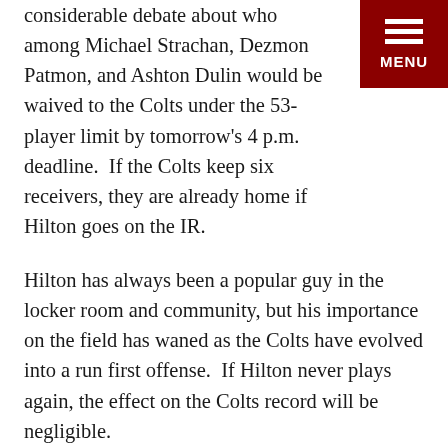considerable debate about who among Michael Strachan, Dezmon Patmon, and Ashton Dulin would be waived to the Colts under the 53-player limit by tomorrow's 4 p.m. deadline.  If the Colts keep six receivers, they are already home if Hilton goes on the IR.
Hilton has always been a popular guy in the locker room and community, but his importance on the field has waned as the Colts have evolved into a run first offense.  If Hilton never plays again, the effect on the Colts record will be negligible.
General manager Chris Ballard's job is to build depth should aging players decline, and Ballard has.  The Colts offensive scheme is to spread the ball among nine receivers, so with Michael Pittman, Parris Campbell, Zach Pascal, Jack Doyle, Mo Alie-Cox, Kylen Granson, Nyheim Hines, Strachan, Patmon and/or Dulin, quarterback Carson Wentz should have plenty of targets to move the chains and score points.